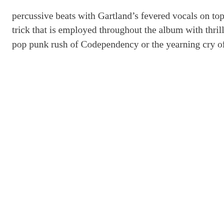percussive beats with Gartland's fevered vocals on top, to trick that is employed throughout the album with thrilling pop punk rush of Codependency or the yearning cry of Ov